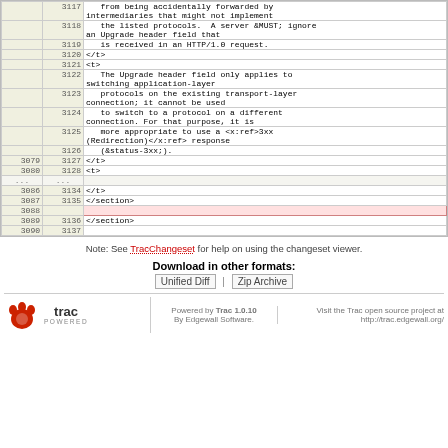| old | new | content |
| --- | --- | --- |
|  | 3117 |    from being accidentally forwarded by intermediaries that might not implement |
|  | 3118 |    the listed protocols.  A server &MUST; ignore an Upgrade header field that |
|  | 3119 |    is received in an HTTP/1.0 request. |
|  | 3120 | </t> |
|  | 3121 | <t> |
|  | 3122 |    The Upgrade header field only applies to switching application-layer |
|  | 3123 |    protocols on the existing transport-layer connection; it cannot be used |
|  | 3124 |    to switch to a protocol on a different connection. For that purpose, it is |
|  | 3125 |    more appropriate to use a <x:ref>3xx (Redirection)</x:ref> response |
|  | 3126 |    (&status-3xx;). |
| 3079 | 3127 | </t> |
| 3080 | 3128 | <t> |
| ... | ... |  |
| 3086 | 3134 | </t> |
| 3087 | 3135 | </section> |
| 3088 |  |  |
| 3089 | 3136 | </section> |
| 3090 | 3137 |  |
Note: See TracChangeset for help on using the changeset viewer.
Download in other formats:
Unified Diff | Zip Archive
Powered by Trac 1.0.10
By Edgewall Software.
Visit the Trac open source project at http://trac.edgewall.org/